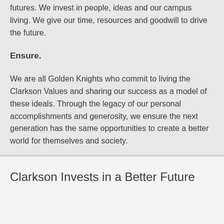futures. We invest in people, ideas and our campus living. We give our time, resources and goodwill to drive the future.
Ensure.
We are all Golden Knights who commit to living the Clarkson Values and sharing our success as a model of these ideals. Through the legacy of our personal accomplishments and generosity, we ensure the next generation has the same opportunities to create a better world for themselves and society.
Clarkson Invests in a Better Future